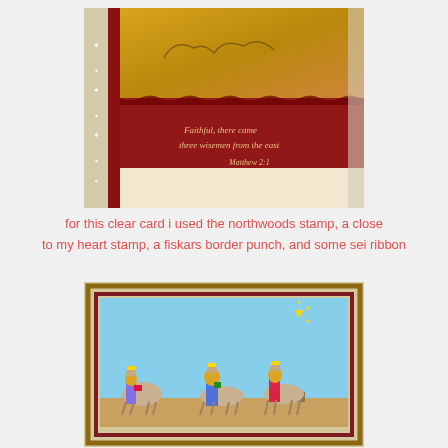MENU
[Figure (photo): Close-up photo of a handmade Christmas card with red and gold layers, decorative border punch ribbon on the left side with white stars, script text reading Bible verse Matthew 2:1, on a light background]
for this clear card i used the northwoods stamp, a close to my heart stamp, a fiskars border punch, and some sei ribbon
[Figure (photo): Colorful painting or artwork of three wise men riding camels toward a bright star, framed in gold and dark red frame, displayed on a light surface]